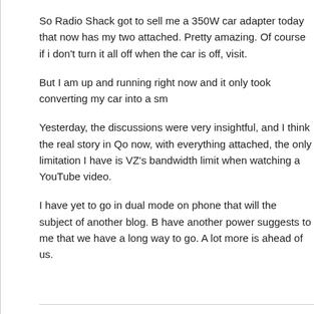So Radio Shack got to sell me a 350W car adapter today that now has my two attached.  Pretty amazing.  Of course if i don't turn it all off when the car is off, visit.
But I am up and running right now and it only took converting my car into a sm
Yesterday, the discussions were very insightful, and I think the real story in Qo now, with everything attached, the only limitation I have is VZ's bandwidth limit when watching a YouTube video.
I have yet to go in dual mode on phone that will the subject of another blog.  B have another power suggests to me that we have a long way to go.  A lot more is ahead of us.